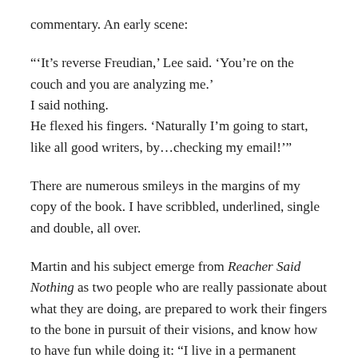commentary. An early scene:
“‘It’s reverse Freudian,’ Lee said. ‘You’re on the couch and you are analyzing me.’
I said nothing.
He flexed his fingers. ‘Naturally I’m going to start, like all good writers, by…checking my email!’”
There are numerous smileys in the margins of my copy of the book. I have scribbled, underlined, single and double, all over.
Martin and his subject emerge from Reacher Said Nothing as two people who are really passionate about what they are doing, are prepared to work their fingers to the bone in pursuit of their visions, and know how to have fun while doing it: “I live in a permanent daydream. I get paid to daydream narratives”, Child says.